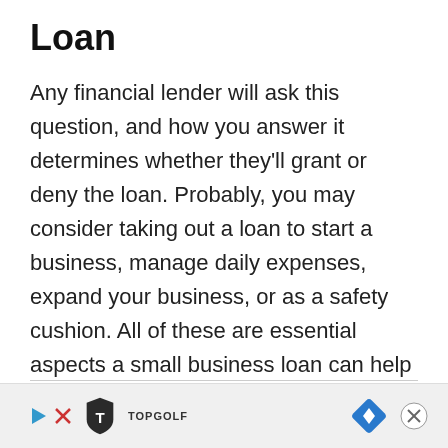Loan
Any financial lender will ask this question, and how you answer it determines whether they’ll grant or deny the loan. Probably, you may consider taking out a loan to start a business, manage daily expenses, expand your business, or as a safety cushion. All of these are essential aspects a small business loan can help address.
[Figure (other): Advertisement banner for Topgolf with play button icon on left, Topgolf shield logo in center, navigation arrow diamond icon, and close (X) button on right]